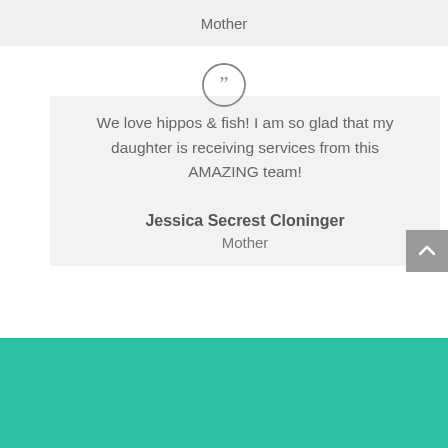Mother
We love hippos & fish! I am so glad that my daughter is receiving services from this AMAZING team!
Jessica Secrest Cloninger
Mother